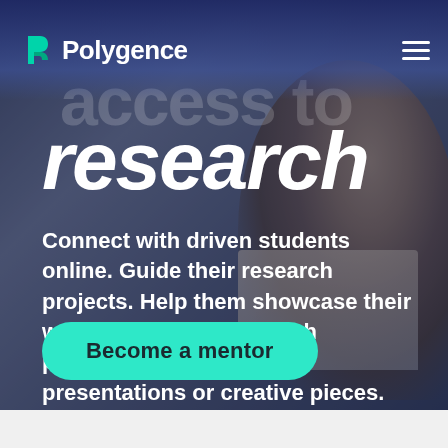[Figure (photo): Website hero section with a smiling woman working on a laptop in a dimly lit environment, overlaid with dark blue tint. Polygence logo and navigation in top bar.]
Polygence
research
Connect with driven students online. Guide their research projects. Help them showcase their work and passion through publications, conference presentations or creative pieces.
Become a mentor